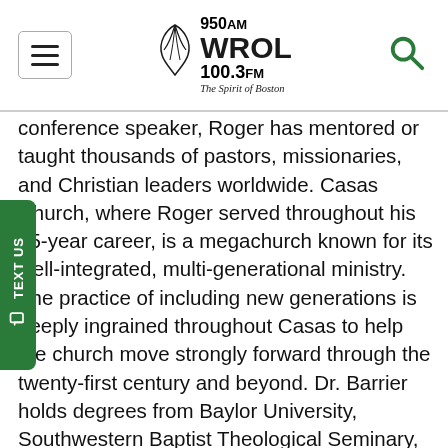950 AM WROL 100.3 FM — The Spirit of Boston
conference speaker, Roger has mentored or taught thousands of pastors, missionaries, and Christian leaders worldwide. Casas Church, where Roger served throughout his 35-year career, is a megachurch known for its well-integrated, multi-generational ministry. The practice of including new generations is deeply ingrained throughout Casas to help the church move strongly forward through the twenty-first century and beyond. Dr. Barrier holds degrees from Baylor University, Southwestern Baptist Theological Seminary, and Golden Gate Seminary in Greek, religion, theology, and pastoral care. His popular book, Listening to the Voice of God, published by Bethany House, is in its second printing and is available in Thai and Portuguese. His latest work is, Got Guts? Get Godly! Pray the Prayer God Guarantees to Answer, from Xulon Press. Roger can be found blogging